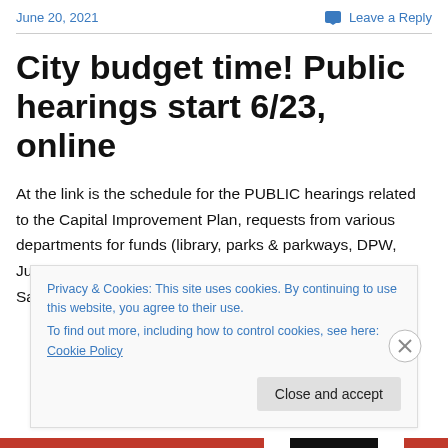June 20, 2021    Leave a Reply
City budget time! Public hearings start 6/23, online
At the link is the schedule for the PUBLIC hearings related to the Capital Improvement Plan, requests from various departments for funds (library, parks & parkways, DPW, Juvenile Justice Intervention Center, Audubon, Dept of Sanitation, SWB, among others. You can watch online.
Privacy & Cookies: This site uses cookies. By continuing to use this website, you agree to their use.
To find out more, including how to control cookies, see here: Cookie Policy
Close and accept